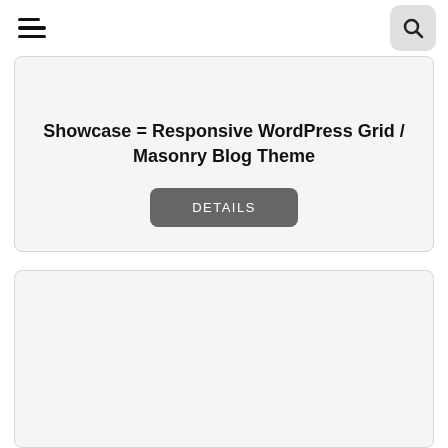Navigation header with hamburger menu and search button
Showcase = Responsive WordPress Grid / Masonry Blog Theme
DETAILS
[Figure (other): Empty card placeholder at bottom of page]